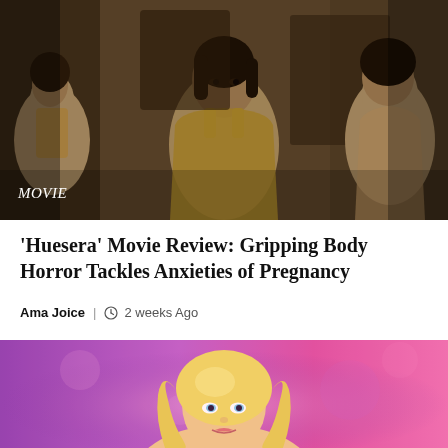[Figure (photo): Dark cinematic still from the movie Huesera showing a woman in a yellow tank top with a mirror reflection, warm brown tones, with 'MOVIE' label overlay in white italic text]
'Huesera' Movie Review: Gripping Body Horror Tackles Anxieties of Pregnancy
Ama Joice | 2 weeks Ago
[Figure (photo): Photo of a blonde woman against a pink/purple bokeh background, partially visible at bottom of page]